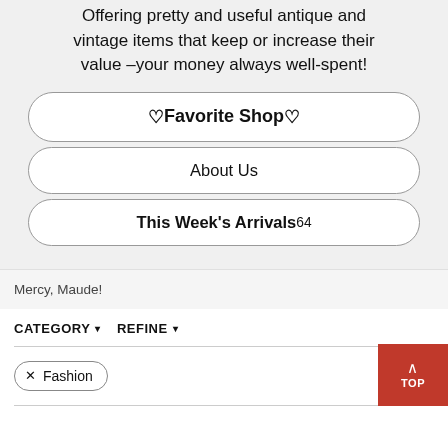Offering pretty and useful antique and vintage items that keep or increase their value –your money always well-spent!
♡ Favorite Shop ♡
About Us
This Week's Arrivals 64
Mercy, Maude!
CATEGORY▾   REFINE▾
× Fashion